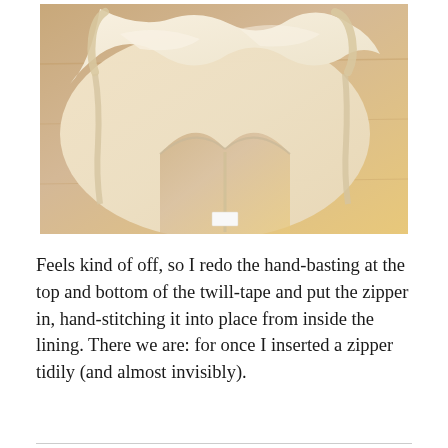[Figure (photo): A cream/ivory colored fabric garment (appears to be a dress lining or garment interior) laid out on a wooden surface, showing the inside construction with seams and a small white label at the bottom center.]
Feels kind of off, so I redo the hand-basting at the top and bottom of the twill-tape and put the zipper in, hand-stitching it into place from inside the lining. There we are: for once I inserted a zipper tidily (and almost invisibly).